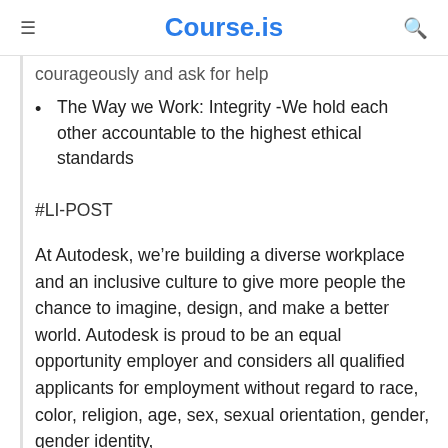Course.is
courageously and ask for help
The Way we Work: Integrity -We hold each other accountable to the highest ethical standards
#LI-POST
At Autodesk, we’re building a diverse workplace and an inclusive culture to give more people the chance to imagine, design, and make a better world. Autodesk is proud to be an equal opportunity employer and considers all qualified applicants for employment without regard to race, color, religion, age, sex, sexual orientation, gender, gender identity,